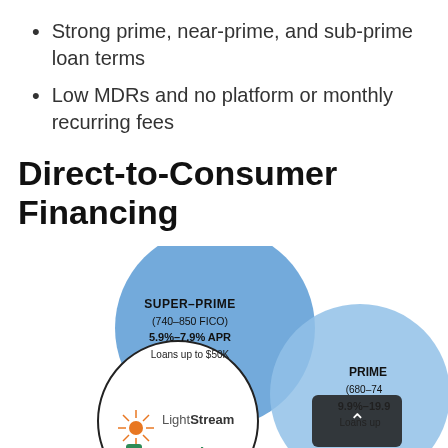Strong prime, near-prime, and sub-prime loan terms
Low MDRs and no platform or monthly recurring fees
Direct-to-Consumer Financing
[Figure (infographic): Overlapping circles (Venn-diagram style) showing lending tiers: a dark blue circle labeled SUPER-PRIME (740-850 FICO) 5.9%-7.9% APR Loans up to $50K; a lighter blue circle labeled PRIME (680-740 FICO) 9.9%-19.9% APR Loans up to $25K; a white circle with black border containing LightStream and Upgrade logos.]